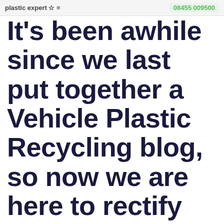plastic expert  |  08455 009500
It's been awhile since we last put together a Vehicle Plastic Recycling blog, so now we are here to rectify that, knowing